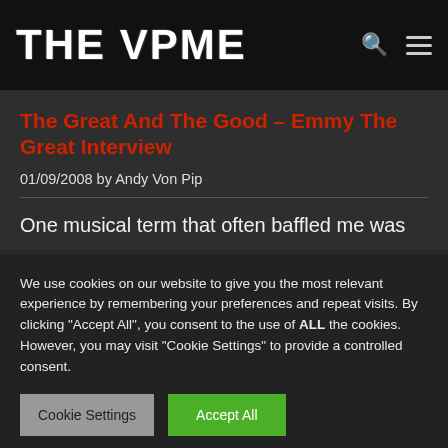THE VPME
The Great And The Good – Emmy The Great Interview
01/09/2008 by Andy Von Pip
One musical term that often baffled me was
We use cookies on our website to give you the most relevant experience by remembering your preferences and repeat visits. By clicking "Accept All", you consent to the use of ALL the cookies. However, you may visit "Cookie Settings" to provide a controlled consent.